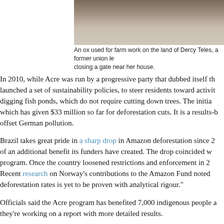[Figure (photo): Partial photo showing an ox used for farm work on the land of Dercy Teles, a former union leader closing a gate near her house.]
An ox used for farm work on the land of Dercy Teles, a former union le... closing a gate near her house.
In 2010, while Acre was run by a progressive party that dubbed itself th... launched a set of sustainability policies, to steer residents toward activiti... digging fish ponds, which do not require cutting down trees. The initiat... which has given $33 million so far for deforestation cuts. It is a results-b... offset German pollution.
Brazil takes great pride in a sharp drop in Amazon deforestation since 2... of an additional benefit its funders have created. The drop coincided w... program. Once the country loosened restrictions and enforcement in 2... Recent research on Norway's contributions to the Amazon Fund noted ... deforestation rates is yet to be proven with analytical rigour.
Officials said the Acre program has benefited 7,000 indigenous people a... they're working on a report with more detailed results.
The 2.3 million acres of the Chico Mendes reserve have retained 94% of... deforestation rose 60% between 2000 to 2016, according to Mascarenha... I saw evidence of the program at work — an ecolodge for tourists, a wa... wasn't hard to find people frustrated with Acre's sustainability program...
Teles took me to visit her brother Pedro Teles de Carvalho, a former rub...